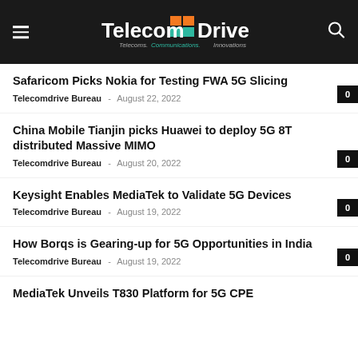TelecomDrive — Telecoms. Communications. Innovations.
Safaricom Picks Nokia for Testing FWA 5G Slicing
Telecomdrive Bureau – August 22, 2022   0
China Mobile Tianjin picks Huawei to deploy 5G 8T distributed Massive MIMO
Telecomdrive Bureau – August 20, 2022   0
Keysight Enables MediaTek to Validate 5G Devices
Telecomdrive Bureau – August 19, 2022   0
How Borqs is Gearing-up for 5G Opportunities in India
Telecomdrive Bureau – August 19, 2022   0
MediaTek Unveils T830 Platform for 5G CPE